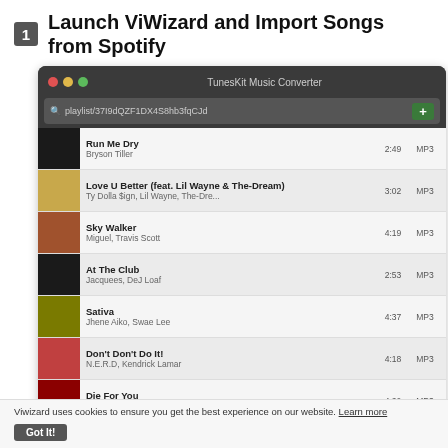1 Launch ViWizard and Import Songs from Spotify
[Figure (screenshot): TunesKit Music Converter application screenshot showing a macOS window with a playlist URL (playlist/37I9dQZF1DX4S8hb3fqCJd) in the URL bar, and a list of songs including: Run Me Dry by Bryson Tiller (2:49, MP3), Love U Better (feat. Lil Wayne & The-Dream) by Ty Dolla $ign, Lil Wayne, The-Dre... (3:02, MP3), Sky Walker by Miguel, Travis Scott (4:19, MP3), At The Club by Jacquees, DeJ Loaf (2:53, MP3), Sativa by Jhene Aiko, Swae Lee (4:37, MP3), Don't Don't Do It! by N.E.R.D, Kendrick Lamar (4:18, MP3), Die For You by The Weeknd (4:20, MP3), The Weekend by SZA (4:32, MP3), When We by Tank (5:09, MP3)]
Viwizard uses cookies to ensure you get the best experience on our website. Learn more
Got It!